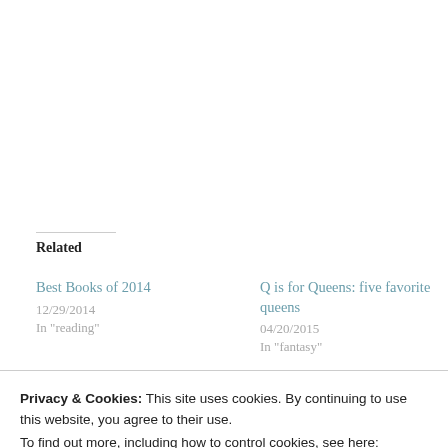Related
Best Books of 2014
12/29/2014
In "reading"
Q is for Queens: five favorite queens
04/20/2015
In "fantasy"
Privacy & Cookies: This site uses cookies. By continuing to use this website, you agree to their use.
To find out more, including how to control cookies, see here:
Cookie Policy
Close and accept